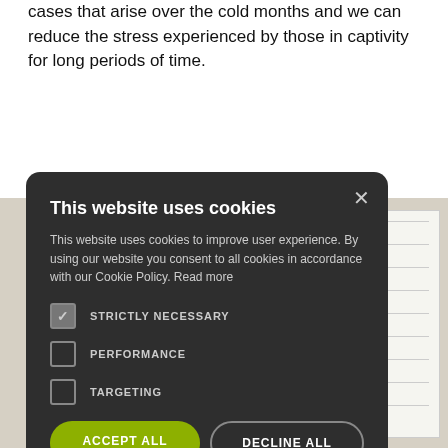cases that arise over the cold months and we can reduce the stress experienced by those in captivity for long periods of time.
[Figure (screenshot): Cookie consent modal dialog on a dark background with title 'This website uses cookies', description text, checkboxes for STRICTLY NECESSARY (checked), PERFORMANCE (unchecked), TARGETING (unchecked), ACCEPT ALL and DECLINE ALL buttons, and SHOW DETAILS link.]